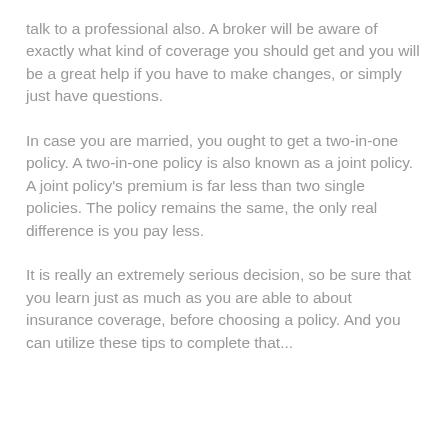talk to a professional also. A broker will be aware of exactly what kind of coverage you should get and you will be a great help if you have to make changes, or simply just have questions.
In case you are married, you ought to get a two-in-one policy. A two-in-one policy is also known as a joint policy. A joint policy's premium is far less than two single policies. The policy remains the same, the only real difference is you pay less.
It is really an extremely serious decision, so be sure that you learn just as much as you are able to about insurance coverage, before choosing a policy. And you can utilize these tips to complete that...